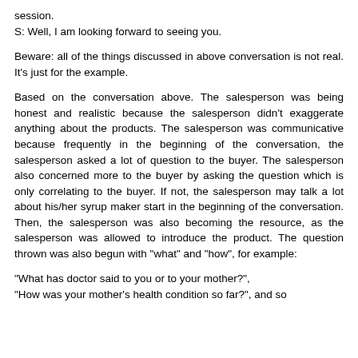session.
S: Well, I am looking forward to seeing you.
Beware: all of the things discussed in above conversation is not real. It's just for the example.
Based on the conversation above. The salesperson was being honest and realistic because the salesperson didn't exaggerate anything about the products. The salesperson was communicative because frequently in the beginning of the conversation, the salesperson asked a lot of question to the buyer. The salesperson also concerned more to the buyer by asking the question which is only correlating to the buyer. If not, the salesperson may talk a lot about his/her syrup maker start in the beginning of the conversation. Then, the salesperson was also becoming the resource, as the salesperson was allowed to introduce the product. The question thrown was also begun with "what" and "how", for example:
"What has doctor said to you or to your mother?",
"How was your mother's health condition so far?", and so